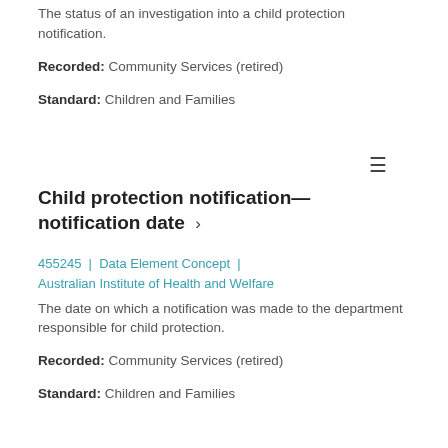The status of an investigation into a child protection notification. Recorded: Community Services (retired) Standard: Children and Families
Child protection notification—notification date ›
455245 | Data Element Concept | Australian Institute of Health and Welfare
The date on which a notification was made to the department responsible for child protection. Recorded: Community Services (retired) Standard: Children and Families
Child protection notification—